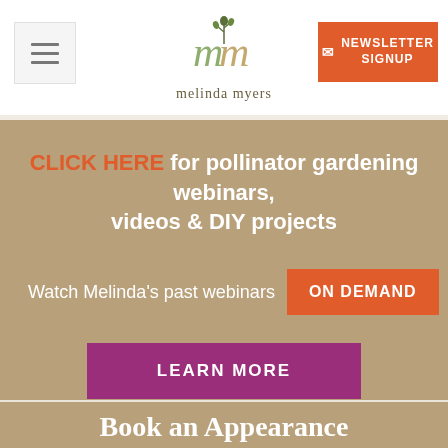[Figure (logo): Melinda Myers logo — stylized 'mm' letters with a plant/tree and the text 'melinda myers']
NEWSLETTER SIGNUP
CLICK HERE for pollinator gardening webinars, videos & DIY projects
Watch Melinda's past webinars ON DEMAND
LEARN MORE
Book an Appearance
LEARN MORE